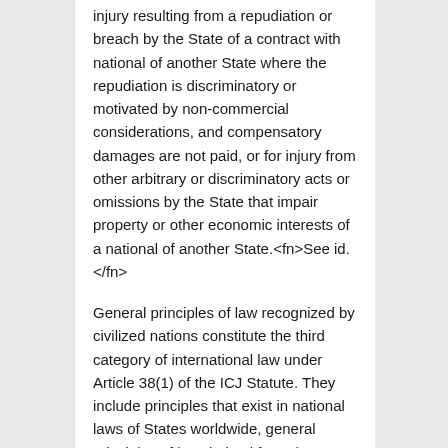injury resulting from a repudiation or breach by the State of a contract with national of another State where the repudiation is discriminatory or motivated by non-commercial considerations, and compensatory damages are not paid, or for injury from other arbitrary or discriminatory acts or omissions by the State that impair property or other economic interests of a national of another State.<fn>See id. </fn>
General principles of law recognized by civilized nations constitute the third category of international law under Article 38(1) of the ICJ Statute. They include principles that exist in national laws of States worldwide, general principles of law derived from the